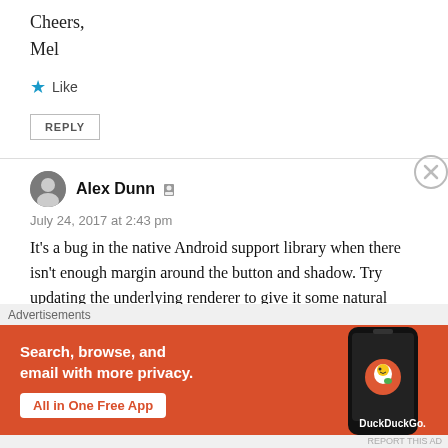Cheers,
Mel
★ Like
REPLY
Alex Dunn
July 24, 2017 at 2:43 pm
It's a bug in the native Android support library when there isn't enough margin around the button and shadow. Try updating the underlying renderer to give it some natural
Advertisements
[Figure (infographic): DuckDuckGo advertisement banner with orange background. Text reads 'Search, browse, and email with more privacy. All in One Free App' with DuckDuckGo logo and a phone graphic on the right.]